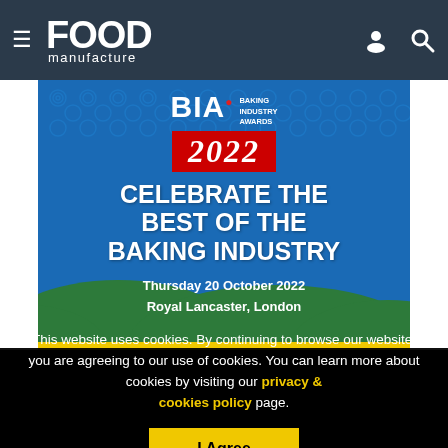FOOD manufacture
[Figure (illustration): BIA Baking Industry Awards 2022 banner. Teal/blue background with swirl patterns. Large white bold text: CELEBRATE THE BEST OF THE BAKING INDUSTRY. Red banner with 2022. Thursday 20 October 2022, Royal Lancaster, London.]
This website uses cookies. By continuing to browse our website, you are agreeing to our use of cookies. You can learn more about cookies by visiting our privacy & cookies policy page.
I Agree